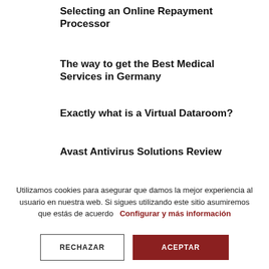Selecting an Online Repayment Processor
The way to get the Best Medical Services in Germany
Exactly what is a Virtual Dataroom?
Avast Antivirus Solutions Review
Utilizamos cookies para asegurar que damos la mejor experiencia al usuario en nuestra web. Si sigues utilizando este sitio asumiremos que estás de acuerdo   Configurar y más información
RECHAZAR
ACEPTAR